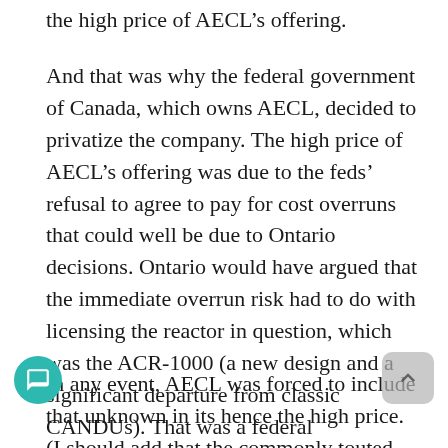the high price of AECL's offering.
And that was why the federal government of Canada, which owns AECL, decided to privatize the company. The high price of AECL's offering was due to the feds' refusal to agree to pay for cost overruns that could well be due to Ontario decisions. Ontario would have argued that the immediate overrun risk had to do with licensing the reactor in question, which was the ACR-1000 (a new design and a significant departure from classic CANDUs). That was a federal responsibility, Ontario would have said. To which the feds may have responded, if you're unsure of the design then why did you (Ontario) ask AECL to pitch that particular machine. Etc.
In any event, AECL was forced to include that unknown in its hence the high price. (I should add that the commonly touted figure, $26 billion for two reactors, has been the subject